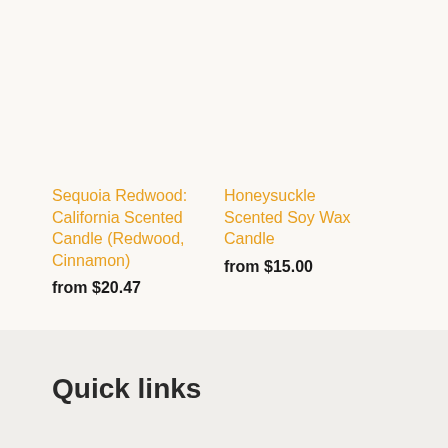Sequoia Redwood: California Scented Candle (Redwood, Cinnamon)
from $20.47
Honeysuckle Scented Soy Wax Candle
from $15.00
Quick links